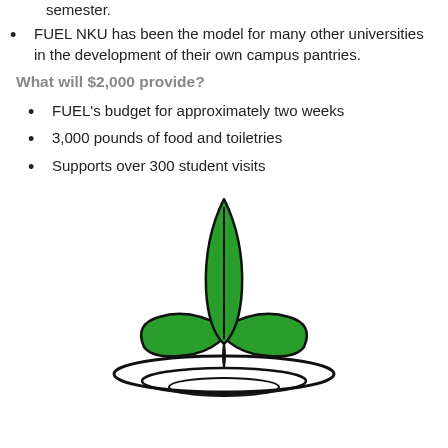FUEL NKU has been the model for many other universities in the development of their own campus pantries.
What will $2,000 provide?
FUEL's budget for approximately two weeks
3,000 pounds of food and toiletries
Supports over 300 student visits
[Figure (logo): NKU FUEL campus pantry logo: a green three-leaf plant sprouting from rippling water, with black outlines.]